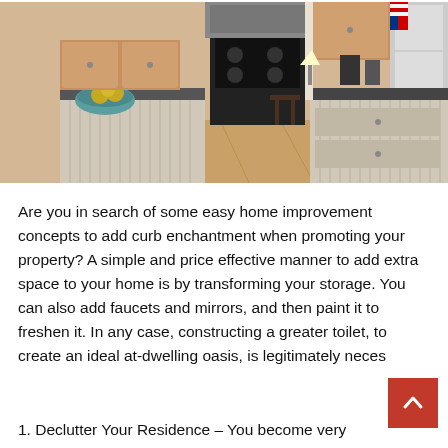[Figure (photo): Interior kitchen photo showing wooden cabinets with dark countertops, a black gas stove/range, kitchen island, hardwood floors, and various kitchen appliances and decorations. An American flag is visible in the background.]
Are you in search of some easy home improvement concepts to add curb enchantment when promoting your property? A simple and price effective manner to add extra space to your home is by transforming your storage. You can also add faucets and mirrors, and then paint it to freshen it. In any case, constructing a greater toilet, to create an ideal at-dwelling oasis, is legitimately neces
1. Declutter Your Residence – You become very